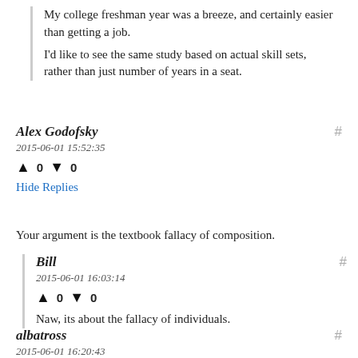My college freshman year was a breeze, and certainly easier than getting a job.
I'd like to see the same study based on actual skill sets, rather than just number of years in a seat.
Alex Godofsky
2015-06-01 15:52:35
↑ 0 ↓ 0
Hide Replies
Your argument is the textbook fallacy of composition.
Bill
2015-06-01 16:03:14
↑ 0 ↓ 0
Naw, its about the fallacy of individuals.
albatross
2015-06-01 16:20:43